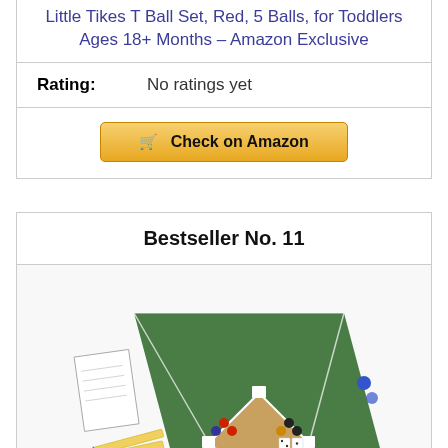Little Tikes T Ball Set, Red, 5 Balls, for Toddlers Ages 18+ Months – Amazon Exclusive
Rating: No ratings yet
Check on Amazon
Bestseller No. 11
[Figure (photo): Baseball board game set showing a green felt diamond playing field with game pieces, dice, and scoresheets.]
Grandma Smiley's What About Baseball Board Game